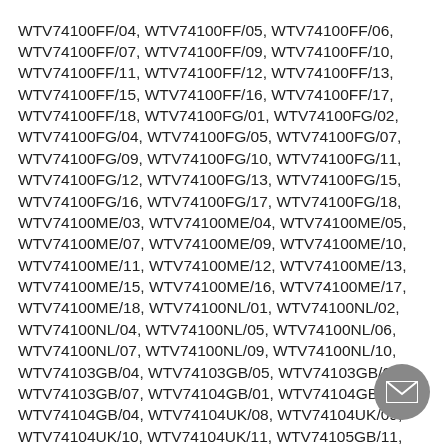WTV74100FF/04, WTV74100FF/05, WTV74100FF/06, WTV74100FF/07, WTV74100FF/09, WTV74100FF/10, WTV74100FF/11, WTV74100FF/12, WTV74100FF/13, WTV74100FF/15, WTV74100FF/16, WTV74100FF/17, WTV74100FF/18, WTV74100FG/01, WTV74100FG/02, WTV74100FG/04, WTV74100FG/05, WTV74100FG/07, WTV74100FG/09, WTV74100FG/10, WTV74100FG/11, WTV74100FG/12, WTV74100FG/13, WTV74100FG/15, WTV74100FG/16, WTV74100FG/17, WTV74100FG/18, WTV74100ME/03, WTV74100ME/04, WTV74100ME/05, WTV74100ME/07, WTV74100ME/09, WTV74100ME/10, WTV74100ME/11, WTV74100ME/12, WTV74100ME/13, WTV74100ME/15, WTV74100ME/16, WTV74100ME/17, WTV74100ME/18, WTV74100NL/01, WTV74100NL/02, WTV74100NL/04, WTV74100NL/05, WTV74100NL/06, WTV74100NL/07, WTV74100NL/09, WTV74100NL/10, WTV74103GB/04, WTV74103GB/05, WTV74103GB/06, WTV74103GB/07, WTV74104GB/01, WTV74104GB/02, WTV74104GB/04, WTV74104UK/08, WTV74104UK/09, WTV74104UK/10, WTV74104UK/11, WTV74105GB/11, WTV74105GB/12, WTV74105GB/13, WTV74105GB/15, WTV74105GB/16, WTV74105GB/17, WTV74105GB/18, WTV74109ZA/02, WTV74109ZA/04, WTV74109ZA/07,